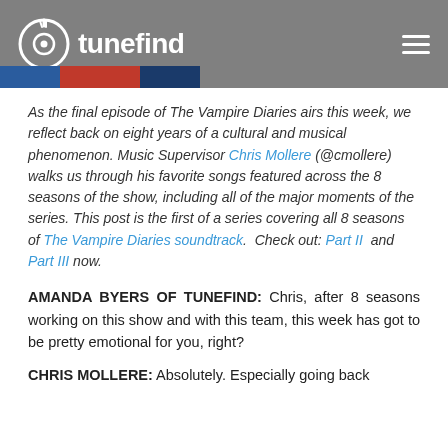tunefind
As the final episode of The Vampire Diaries airs this week, we reflect back on eight years of a cultural and musical phenomenon. Music Supervisor Chris Mollere (@cmollere) walks us through his favorite songs featured across the 8 seasons of the show, including all of the major moments of the series. This post is the first of a series covering all 8 seasons of The Vampire Diaries soundtrack. Check out: Part II and Part III now.
AMANDA BYERS OF TUNEFIND: Chris, after 8 seasons working on this show and with this team, this week has got to be pretty emotional for you, right?
CHRIS MOLLERE: Absolutely. Especially going back